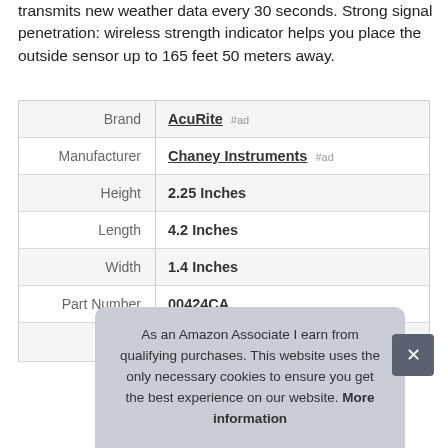transmits new weather data every 30 seconds. Strong signal penetration: wireless strength indicator helps you place the outside sensor up to 165 feet 50 meters away.
| Brand | AcuRite #ad |
| Manufacturer | Chaney Instruments #ad |
| Height | 2.25 Inches |
| Length | 4.2 Inches |
| Width | 1.4 Inches |
| Part Number | 00424CA |
As an Amazon Associate I earn from qualifying purchases. This website uses the only necessary cookies to ensure you get the best experience on our website. More information